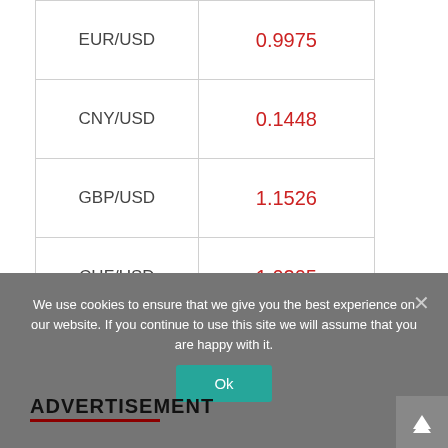| Currency Pair | Rate |
| --- | --- |
| EUR/USD | 0.9975 |
| CNY/USD | 0.1448 |
| GBP/USD | 1.1526 |
| CHF/USD | 1.0205 |
| AUD/USD | 0.6790 |
We use cookies to ensure that we give you the best experience on our website. If you continue to use this site we will assume that you are happy with it.
ADVERTISEMENT